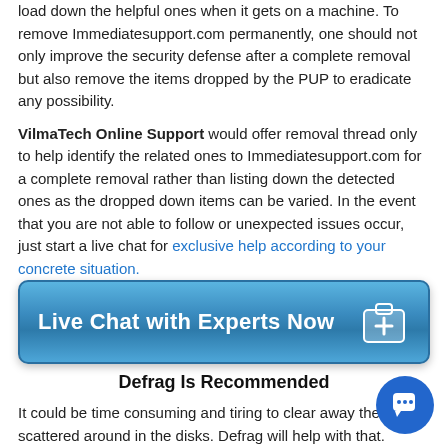load down the helpful ones when it gets on a machine. To remove Immediatesupport.com permanently, one should not only improve the security defense after a complete removal but also remove the items dropped by the PUP to eradicate any possibility.

VilmaTech Online Support would offer removal thread only to help identify the related ones to Immediatesupport.com for a complete removal rather than listing down the detected ones as the dropped down items can be varied. In the event that you are not able to follow or unexpected issues occur, just start a live chat for exclusive help according to your concrete situation.
[Figure (other): Blue button with text 'Live Chat with Experts Now' and a medical bag icon with a plus sign]
Defrag Is Recommended
It could be time consuming and tiring to clear away the files scattered around in the disks. Defrag will help with that. Here's the video to